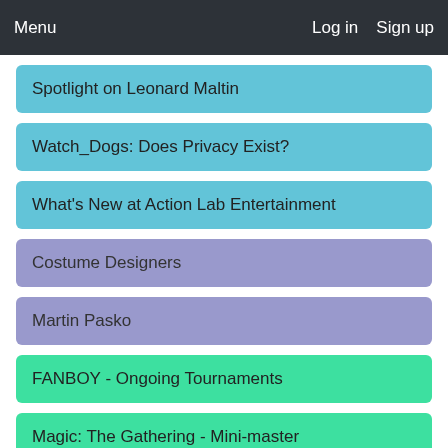Menu   Log in   Sign up
Spotlight on Leonard Maltin
Watch_Dogs: Does Privacy Exist?
What's New at Action Lab Entertainment
Costume Designers
Martin Pasko
FANBOY - Ongoing Tournaments
Magic: The Gathering - Mini-master
6:00pm PDT